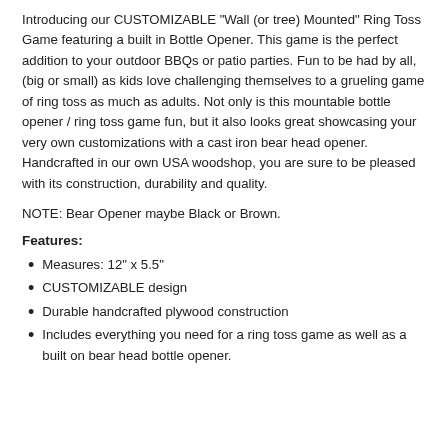Introducing our CUSTOMIZABLE "Wall (or tree) Mounted" Ring Toss Game featuring a built in Bottle Opener. This game is the perfect addition to your outdoor BBQs or patio parties. Fun to be had by all, (big or small) as kids love challenging themselves to a grueling game of ring toss as much as adults. Not only is this mountable bottle opener / ring toss game fun, but it also looks great showcasing your very own customizations with a cast iron bear head opener. Handcrafted in our own USA woodshop, you are sure to be pleased with its construction, durability and quality.
NOTE: Bear Opener maybe Black or Brown.
Features:
Measures: 12" x 5.5"
CUSTOMIZABLE design
Durable handcrafted plywood construction
Includes everything you need for a ring toss game as well as a built on bear head bottle opener.